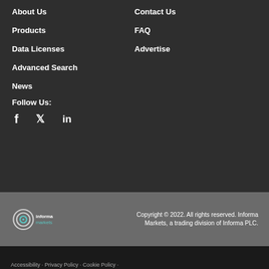About Us
Contact Us
Products
FAQ
Data Licenses
Advertise
Advanced Search
News
Follow Us:
[Figure (logo): Social media icons: Facebook, Twitter, LinkedIn]
[Figure (logo): Informa Markets logo]
Copyright © 2022. All rights reserved. Informa Markets, a trading division of Informa PLC.
Accessibility · Privacy Policy · Cookie Policy ·